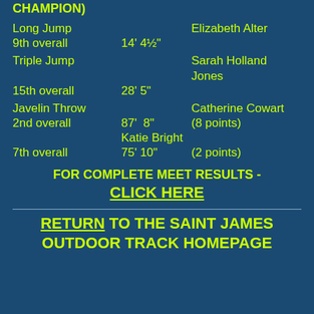CHAMPION)
Long Jump   Elizabeth Alter  9th overall   14' 4½"
Triple Jump   Sarah Holland Jones  15th overall   28' 5"
Javelin Throw   Catherine Cowart  2nd overall   87'  8"  (8 points)   Katie Bright  7th overall   75' 10"  (2 points)
FOR COMPLETE MEET RESULTS - CLICK HERE
RETURN TO THE SAINT JAMES OUTDOOR TRACK HOMEPAGE